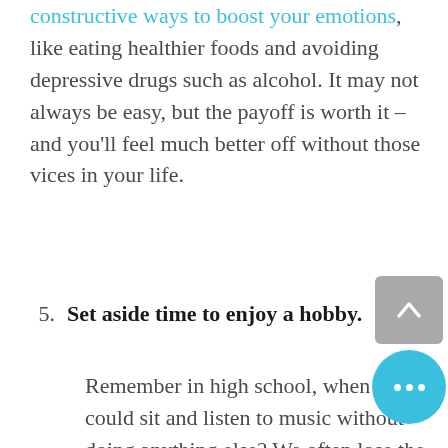constructive ways to boost your emotions, like eating healthier foods and avoiding depressive drugs such as alcohol. It may not always be easy, but the payoff is worth it – and you'll feel much better off without those vices in your life.
5.  Set aside time to enjoy a hobby.
Remember in high school, when you could sit and listen to music without doing anything else? We often lose the time to engage in such activities as we get older and busier, and our mental health suffers as a result. Think